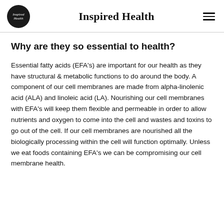Inspired Health
Why are they so essential to health?
Essential fatty acids (EFA's) are important for our health as they have structural & metabolic functions to do around the body. A component of our cell membranes are made from alpha-linolenic acid (ALA) and linoleic acid (LA). Nourishing our cell membranes with EFA's will keep them flexible and permeable in order to allow nutrients and oxygen to come into the cell and wastes and toxins to go out of the cell. If our cell membranes are nourished all the biologically processing within the cell will function optimally. Unless we eat foods containing EFA's we can be compromising our cell membrane health.